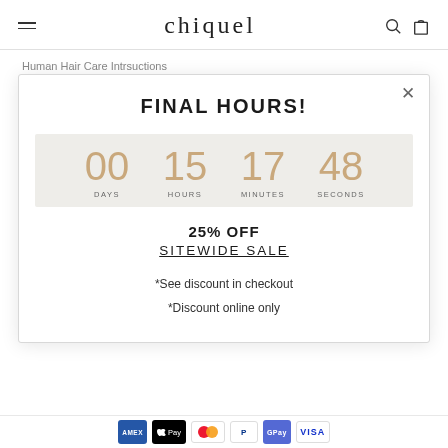chiquel
Human Hair Care Intrsuctions
Synthetic Hair Care Instructions
FINAL HOURS!
00 DAYS  15 HOURS  17 MINUTES  48 SECONDS
25% OFF
SITEWIDE SALE
*See discount in checkout
*Discount online only